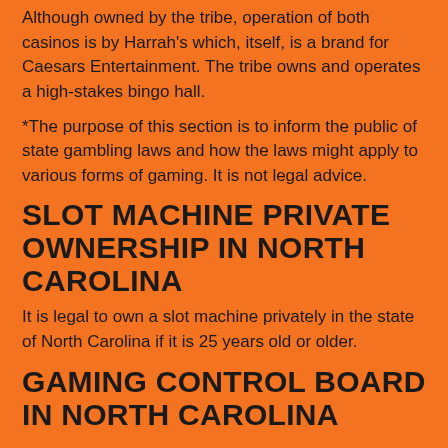Although owned by the tribe, operation of both casinos is by Harrah's which, itself, is a brand for Caesars Entertainment. The tribe owns and operates a high-stakes bingo hall.
*The purpose of this section is to inform the public of state gambling laws and how the laws might apply to various forms of gaming. It is not legal advice.
SLOT MACHINE PRIVATE OWNERSHIP IN NORTH CAROLINA
It is legal to own a slot machine privately in the state of North Carolina if it is 25 years old or older.
GAMING CONTROL BOARD IN NORTH CAROLINA